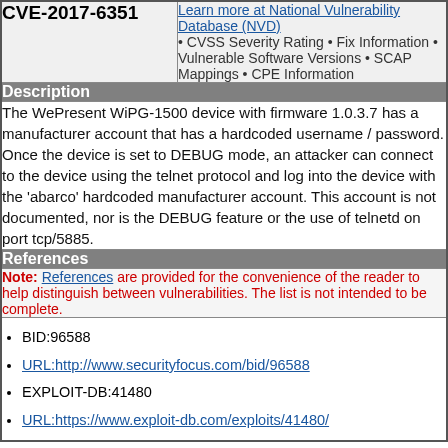| CVE-2017-6351 | Learn more at National Vulnerability Database (NVD) |
| --- | --- |
|  | • CVSS Severity Rating • Fix Information • Vulnerable Software Versions • SCAP Mappings • CPE Information |
Description
The WePresent WiPG-1500 device with firmware 1.0.3.7 has a manufacturer account that has a hardcoded username / password. Once the device is set to DEBUG mode, an attacker can connect to the device using the telnet protocol and log into the device with the 'abarco' hardcoded manufacturer account. This account is not documented, nor is the DEBUG feature or the use of telnetd on port tcp/5885.
References
Note: References are provided for the convenience of the reader to help distinguish between vulnerabilities. The list is not intended to be complete.
BID:96588
URL:http://www.securityfocus.com/bid/96588
EXPLOIT-DB:41480
URL:https://www.exploit-db.com/exploits/41480/